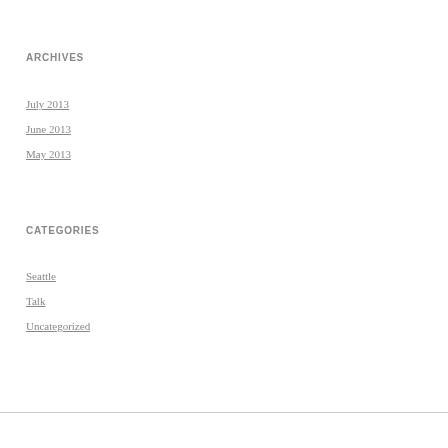ARCHIVES
July 2013
June 2013
May 2013
CATEGORIES
Seattle
Talk
Uncategorized